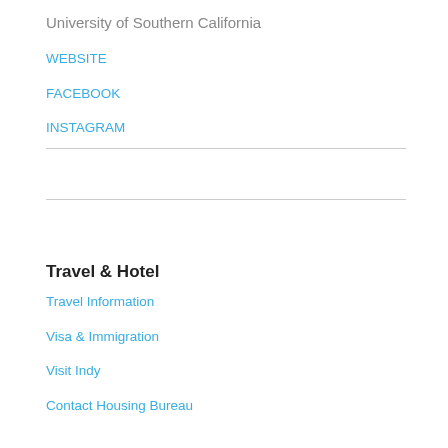University of Southern California
WEBSITE
FACEBOOK
INSTAGRAM
Travel & Hotel
Travel Information
Visa & Immigration
Visit Indy
Contact Housing Bureau